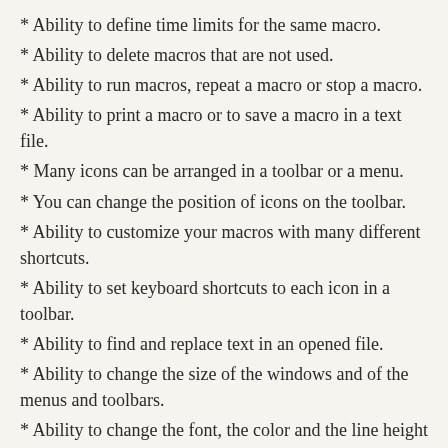* Ability to define time limits for the same macro.
* Ability to delete macros that are not used.
* Ability to run macros, repeat a macro or stop a macro.
* Ability to print a macro or to save a macro in a text file.
* Many icons can be arranged in a toolbar or a menu.
* You can change the position of icons on the toolbar.
* Ability to customize your macros with many different shortcuts.
* Ability to set keyboard shortcuts to each icon in a toolbar.
* Ability to find and replace text in an opened file.
* Ability to change the size of the windows and of the menus and toolbars.
* Ability to change the font, the color and the line height for the menus and toolbars.